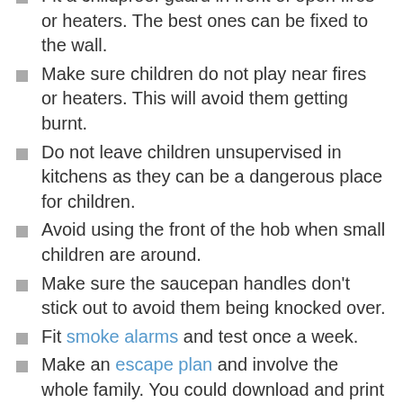Fit a childproof guard in front of open fires or heaters. The best ones can be fixed to the wall.
Make sure children do not play near fires or heaters. This will avoid them getting burnt.
Do not leave children unsupervised in kitchens as they can be a dangerous place for children.
Avoid using the front of the hob when small children are around.
Make sure the saucepan handles don't stick out to avoid them being knocked over.
Fit smoke alarms and test once a week.
Make an escape plan and involve the whole family. You could download and print Drago's escape planner.